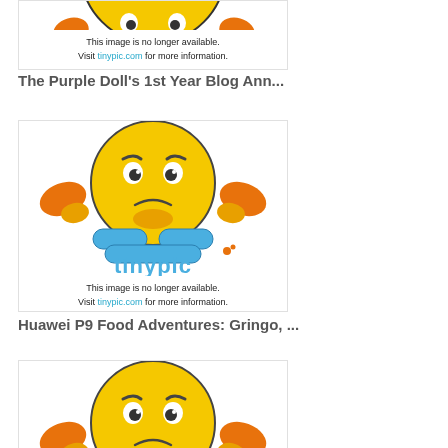[Figure (screenshot): Tinypic 'image no longer available' placeholder showing an angry emoji mascot holding its chin, with tinypic logo and notice text. Cropped at top.]
The Purple Doll's 1st Year Blog Ann...
[Figure (screenshot): Tinypic 'image no longer available' placeholder showing an angry emoji mascot holding its chin, with tinypic logo and notice text. Full image.]
Huawei P9 Food Adventures: Gringo, ...
[Figure (screenshot): Tinypic 'image no longer available' placeholder showing an angry emoji mascot holding its chin. Partially cropped at bottom.]